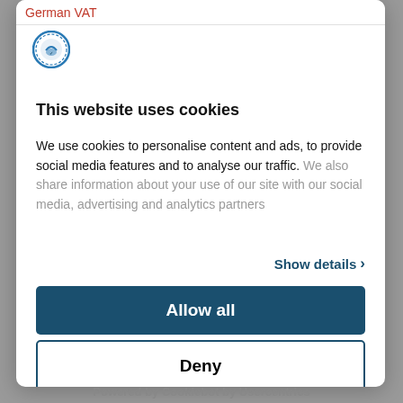German VAT
[Figure (logo): Cookiebot/Usercentrics circular stamp logo in blue]
This website uses cookies
We use cookies to personalise content and ads, to provide social media features and to analyse our traffic. We also share information about your use of our site with our social media, advertising and analytics partners
Show details ›
Allow all
Deny
Powered by Cookiebot by Usercentrics